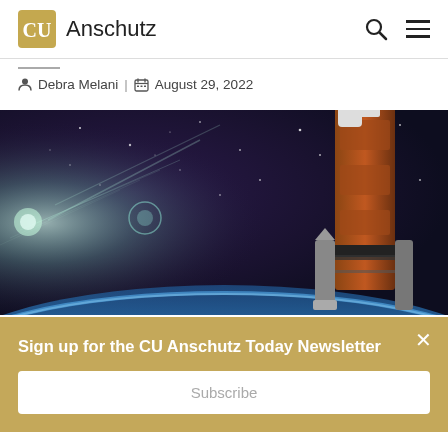CU Anschutz
Debra Melani | August 29, 2022
[Figure (photo): Artistic rendering of a large orange NASA rocket in space above Earth's horizon with starfield background and sunlight rays]
Sign up for the CU Anschutz Today Newsletter
Subscribe